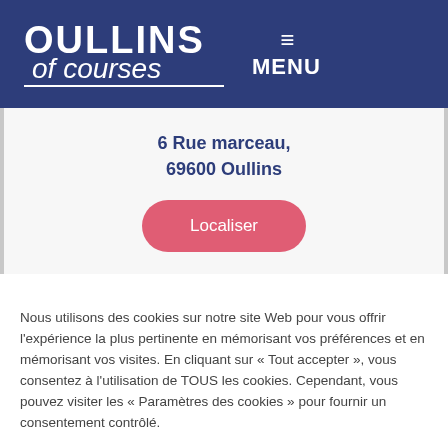OULLINS of courses — MENU
6 Rue marceau, 69600 Oullins
Localiser
Nous utilisons des cookies sur notre site Web pour vous offrir l'expérience la plus pertinente en mémorisant vos préférences et en mémorisant vos visites. En cliquant sur « Tout accepter », vous consentez à l'utilisation de TOUS les cookies. Cependant, vous pouvez visiter les « Paramètres des cookies » pour fournir un consentement contrôlé.
Gérer les cookies
Tout accepter